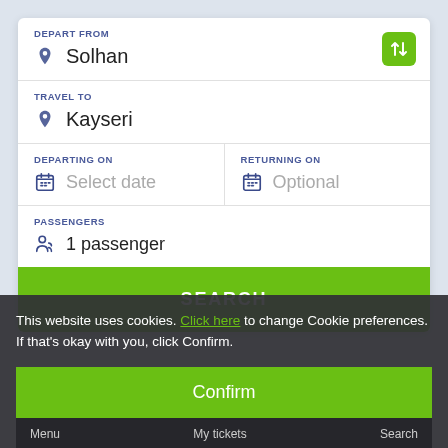DEPART FROM
Solhan
TRAVEL TO
Kayseri
DEPARTING ON
Select date
RETURNING ON
Optional
PASSENGERS
1 passenger
SEARCH
This website uses cookies. Click here to change Cookie preferences. If that's okay with you, click Confirm.
Confirm
Menu
My tickets
Search